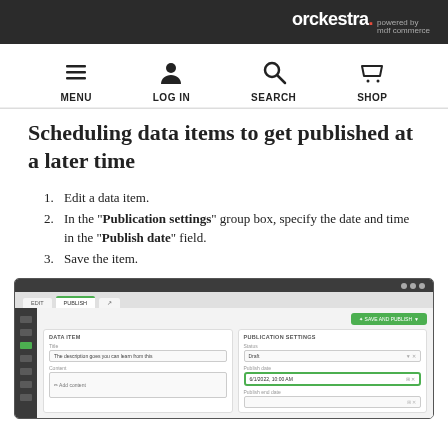orckestra · powered by mdf commerce
[Figure (screenshot): Navigation bar with icons for MENU, LOG IN, SEARCH, SHOP]
Scheduling data items to get published at a later time
1. Edit a data item.
2. In the "Publication settings" group box, specify the date and time in the "Publish date" field.
3. Save the item.
[Figure (screenshot): Screenshot of Orckestra CMS interface showing data item editor with Publication settings panel, highlighting the Publish date field with a green border and a date/time value entered.]